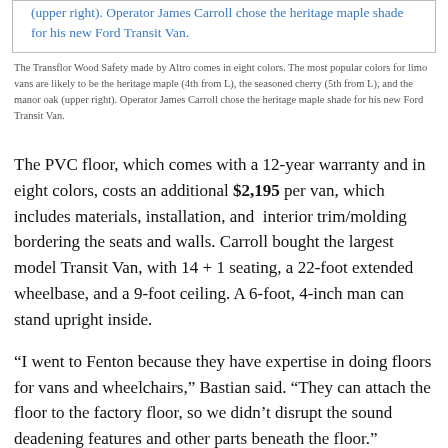(upper right). Operator James Carroll chose the heritage maple shade for his new Ford Transit Van.
The Transflor Wood Safety made by Altro comes in eight colors. The most popular colors for limo vans are likely to be the heritage maple (4th from L), the seasoned cherry (5th from L), and the manor oak (upper right). Operator James Carroll chose the heritage maple shade for his new Ford Transit Van.
The PVC floor, which comes with a 12-year warranty and in eight colors, costs an additional $2,195 per van, which includes materials, installation, and interior trim/molding bordering the seats and walls. Carroll bought the largest model Transit Van, with 14 + 1 seating, a 22-foot extended wheelbase, and a 9-foot ceiling. A 6-foot, 4-inch man can stand upright inside.
“I went to Fenton because they have expertise in doing floors for vans and wheelchairs,” Bastian said. “They can attach the floor to the factory floor, so we didn’t disrupt the sound deadening features and other parts beneath the floor.” Because the floor is made of PVC, not rigid it